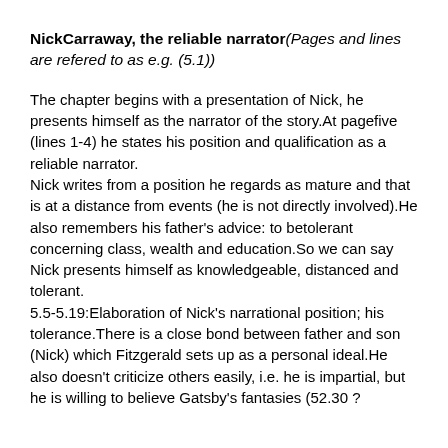NickCarraway, the reliable narrator(Pages and lines are refered to as e.g. (5.1))
The chapter begins with a presentation of Nick, he presents himself as the narrator of the story.At pagefive (lines 1-4) he states his position and qualification as a reliable narrator.
Nick writes from a position he regards as mature and that is at a distance from events (he is not directly involved).He also remembers his father's advice: to betolerant concerning class, wealth and education.So we can say Nick presents himself as knowledgeable, distanced and tolerant.
5.5-5.19:Elaboration of Nick's narrational position; his tolerance.There is a close bond between father and son (Nick) which Fitzgerald sets up as a personal ideal.He also doesn't criticize others easily, i.e. he is impartial, but he is willing to believe Gatsby's fantasies (52.30 ?